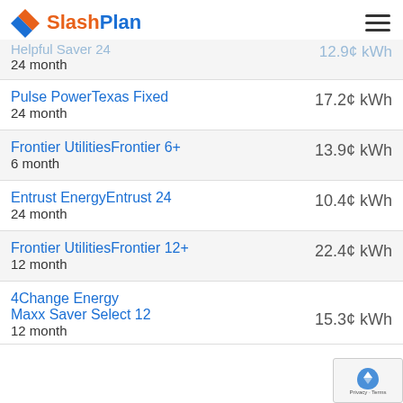SlashPlan
Helpful Saver 24 — 12.9¢ kWh — 24 month
Pulse PowerTexas Fixed — 17.2¢ kWh — 24 month
Frontier UtilitiesFrontier 6+ — 13.9¢ kWh — 6 month
Entrust EnergyEntrust 24 — 10.4¢ kWh — 24 month
Frontier UtilitiesFrontier 12+ — 22.4¢ kWh — 12 month
4Change Energy Maxx Saver Select 12 — 15.3¢ kWh — 12 month